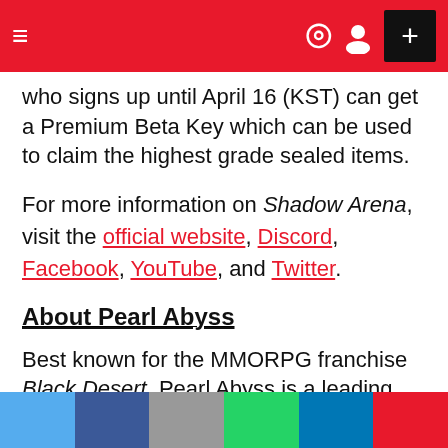Navigation bar with hamburger menu, dark mode icon, user icon, and plus button
who signs up until April 16 (KST) can get a Premium Beta Key which can be used to claim the highest grade sealed items.
For more information on Shadow Arena, visit the official website, Discord, Facebook, YouTube, and Twitter.
About Pearl Abyss
Best known for the MMORPG franchise Black Desert, Pearl Abyss is a leading developer in the game industry. Established in 2010, Pearl Abyss has since
Social share bar: Twitter, Facebook, Email, WhatsApp, LinkedIn, More